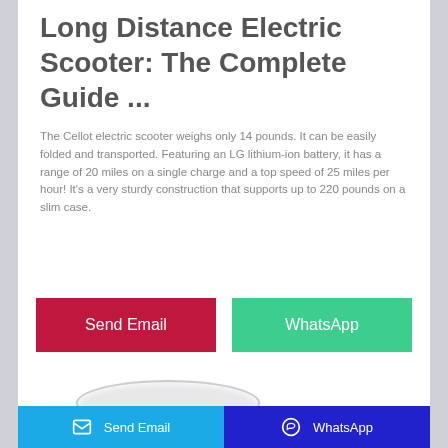Long Distance Electric Scooter: The Complete Guide ...
The Cellot electric scooter weighs only 14 pounds. It can be easily folded and transported. Featuring an LG lithium-ion battery, it has a range of 20 miles on a single charge and a top speed of 25 miles per hour! It's a very sturdy construction that supports up to 220 pounds on a slim case.
[Figure (other): Send Email button (red) and WhatsApp button (green)]
[Figure (photo): White oval/ring shaped product image at the bottom of the card]
Send Email   WhatsApp